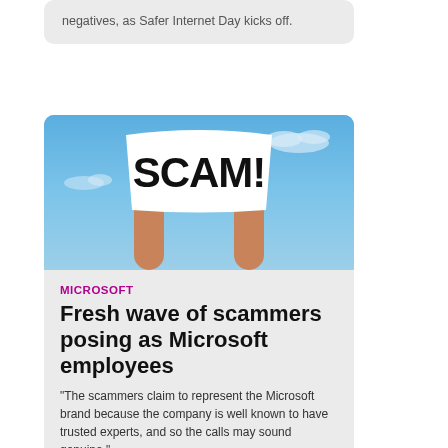negatives, as Safer Internet Day kicks off.
[Figure (photo): Two hands raised up holding a white sign with 'SCAM!' written in large bold black letters, against a blue sky background with white clouds.]
MICROSOFT
Fresh wave of scammers posing as Microsoft employees
"The scammers claim to represent the Microsoft brand because the company is well known to have trusted experts, and so the calls may sound genuine."